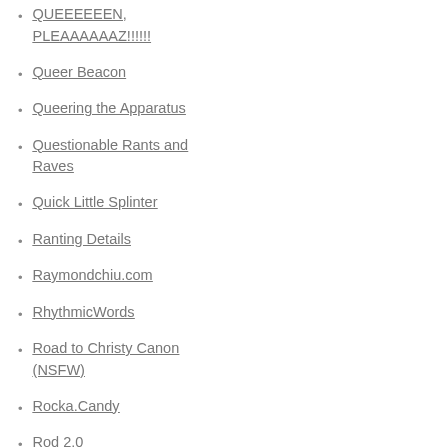QUEEEEEEN, PLEAAAAAAZ!!!!!!!
Queer Beacon
Queering the Apparatus
Questionable Rants and Raves
Quick Little Splinter
Ranting Details
Raymondchiu.com
RhythmicWords
Road to Christy Canon (NSFW)
Rocka.Candy
Rod 2.0
Rugged amethyst
Sasha Frere-Jones' New Yorker Blog
SaunShine
Scott Heim's Noise
Second City Style